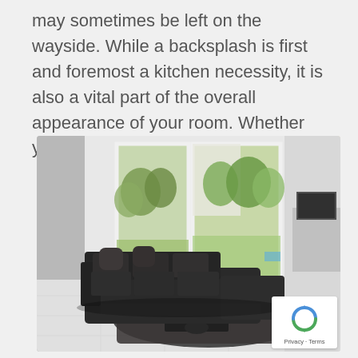may sometimes be left on the wayside. While a backsplash is first and foremost a kitchen necessity, it is also a vital part of the overall appearance of your room. Whether your taste [...]
[Figure (photo): Modern minimalist living room with large floor-to-ceiling windows overlooking a green garden, dark sectional sofa with a dark shaggy rug and coffee table, white marble tile flooring, and a TV unit on the right wall.]